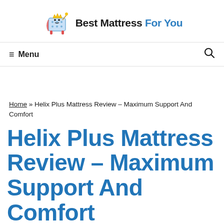[Figure (logo): Best Mattress For You logo with cartoon mattress king character and text 'Best Mattress For You' where 'For You' is in blue]
≡ Menu  🔍
Home » Helix Plus Mattress Review – Maximum Support And Comfort
Helix Plus Mattress Review – Maximum Support And Comfort